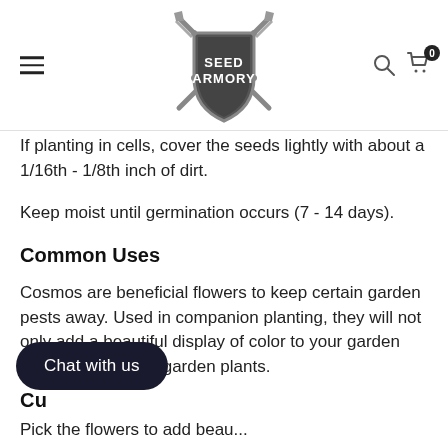[Figure (logo): Seed Armory logo: a medieval shield with crossed swords and the text SEED ARMORY]
If planting in cells, cover the seeds lightly with about a 1/16th - 1/8th inch of dirt.
Keep moist until germination occurs (7 - 14 days).
Common Uses
Cosmos are beneficial flowers to keep certain garden pests away. Used in companion planting, they will not only add a beautiful display of color to your garden but also help other garden plants.
Cu
Pick the flowers to add beauty...